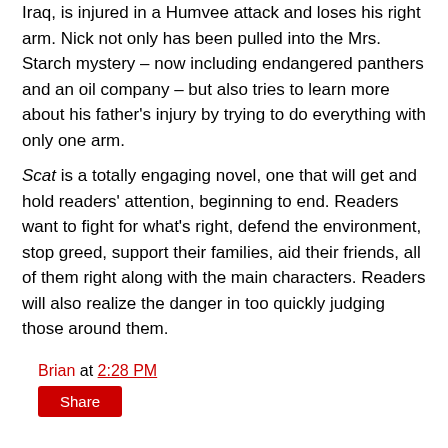Iraq, is injured in a Humvee attack and loses his right arm. Nick not only has been pulled into the Mrs. Starch mystery – now including endangered panthers and an oil company – but also tries to learn more about his father's injury by trying to do everything with only one arm.
Scat is a totally engaging novel, one that will get and hold readers' attention, beginning to end. Readers want to fight for what's right, defend the environment, stop greed, support their families, aid their friends, all of them right along with the main characters. Readers will also realize the danger in too quickly judging those around them.
Brian at 2:28 PM
Share
2 comments:
Anonymous February 17, 2009 at 7:52 AM
My class read the book Hoot while I read Flush. I finished